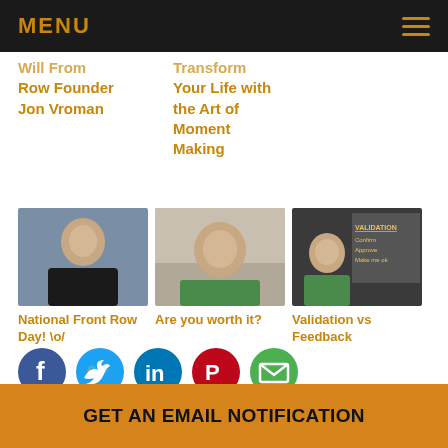MENU
Will From Row Founder Jon Vroman
Transform Your Life with the Art of Moment Making
[Figure (photo): Headshot of bald man in black v-neck shirt, professional photo]
National Front Row Day! \o/
[Figure (photo): Selfie of bald man in green shirt]
Are you worth it?
[Figure (photo): Man in green shirt next to chalkboard with VALIDATION written on it]
Validation vs Feedback
[Figure (infographic): Social media icons: Facebook, Twitter, LinkedIn, Pinterest, Email]
GET AN EMAIL NOTIFICATION